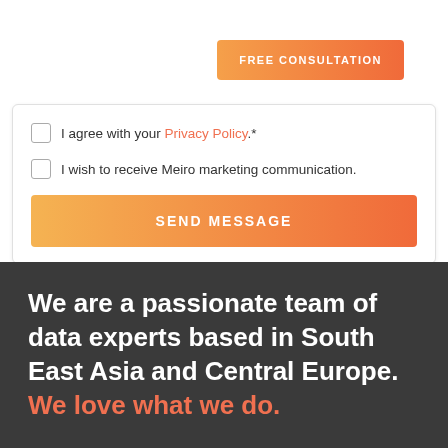FREE CONSULTATION
I agree with your Privacy Policy.*
I wish to receive Meiro marketing communication.
SEND MESSAGE
We are a passionate team of data experts based in South East Asia and Central Europe. We love what we do.